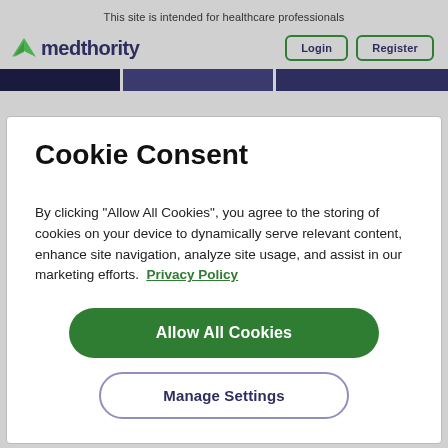This site is intended for healthcare professionals
[Figure (logo): Medthority logo with green leaf icon and dark navy text]
Login  Register
Cookie Consent
By clicking “Allow All Cookies”, you agree to the storing of cookies on your device to dynamically serve relevant content, enhance site navigation, analyze site usage, and assist in our marketing efforts.  Privacy Policy
Allow All Cookies
Manage Settings